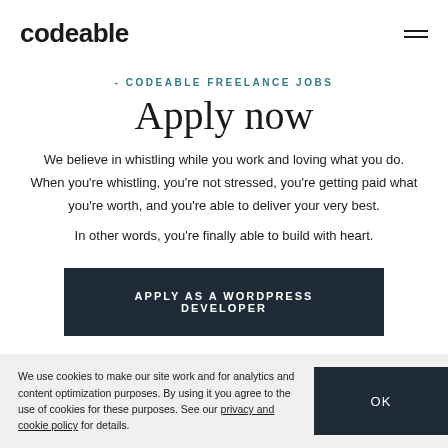codeable
CODEABLE FREELANCE JOBS
Apply now
We believe in whistling while you work and loving what you do. When you're whistling, you're not stressed, you're getting paid what you're worth, and you're able to deliver your very best.
In other words, you're finally able to build with heart.
APPLY AS A WORDPRESS DEVELOPER
We use cookies to make our site work and for analytics and content optimization purposes. By using it you agree to the use of cookies for these purposes. See our privacy and cookie policy for details.